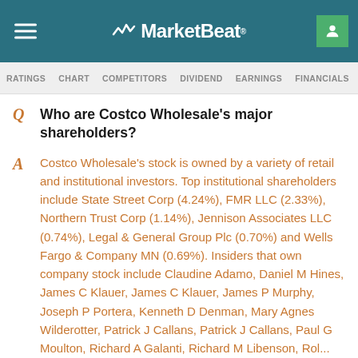MarketBeat
RATINGS  CHART  COMPETITORS  DIVIDEND  EARNINGS  FINANCIALS  >NSI
Q  Who are Costco Wholesale's major shareholders?
A  Costco Wholesale's stock is owned by a variety of retail and institutional investors. Top institutional shareholders include State Street Corp (4.24%), FMR LLC (2.33%), Northern Trust Corp (1.14%), Jennison Associates LLC (0.74%), Legal & General Group Plc (0.70%) and Wells Fargo & Company MN (0.69%). Insiders that own company stock include Claudine Adamo, Daniel M Hines, James C Klauer, James C Klauer, James P Murphy, Joseph P Portera, Kenneth D Denman, Mary Agnes Wilderotter, Patrick J Callans, Patrick J Callans, Paul G Moulton, Richard A Galanti, Richard M Libenson, Robert ...